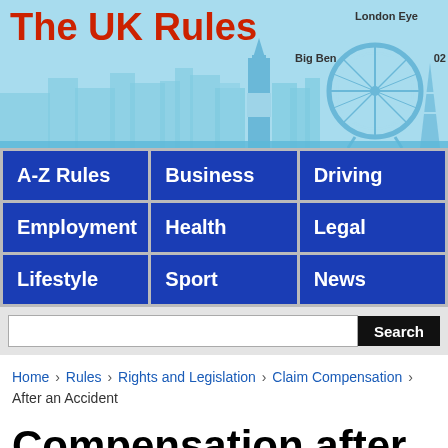The UK Rules
[Figure (illustration): London skyline with Big Ben and London Eye silhouette on light blue background]
A-Z Rules | Business | Driving | Employment | Health | Legal | Lifestyle | Sport | News
Search
Home › Rules › Rights and Legislation › Claim Compensation › After an Accident
Compensation after Accident or Injury